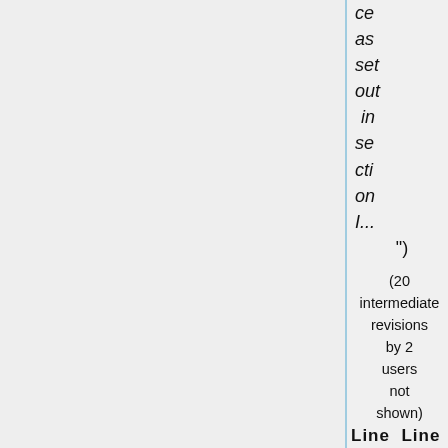ce as set out in section I... ")
(20 intermediate revisions by 2 users not shown)
Line  Line